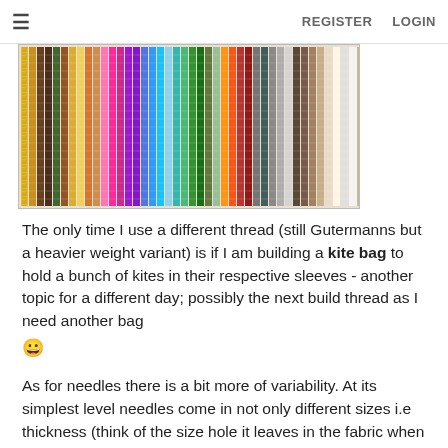≡   REGISTER   LOGIN
[Figure (photo): A wall-mounted display rack filled with rows of colorful Gutermann thread spools arranged in columns showing many different colors including yellows, oranges, reds, pinks, purples, blues, greens, and neutrals.]
The only time I use a different thread (still Gutermanns but a heavier weight variant) is if I am building a kite bag to hold a bunch of kites in their respective sleeves - another topic for a different day; possibly the next build thread as I need another bag 🙂
As for needles there is a bit more of variability. At its simplest level needles come in not only different sizes i.e thickness (think of the size hole it leaves in the fabric when punching through) - but also